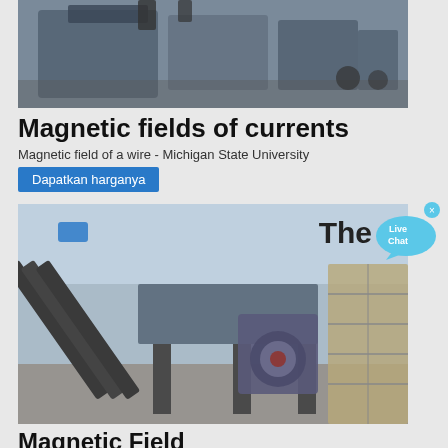[Figure (photo): Industrial machinery equipment, appears to be mining or quarrying equipment, viewed from the front/side in an outdoor setting.]
Magnetic fields of currents
Magnetic field of a wire - Michigan State University
Dapatkan harganya
[Figure (photo): Industrial conveyor belt and crushing equipment at what appears to be a quarry or mining site, with stone walls visible on the right side.]
Magnetic Field
2008-10-7 · therefore, a current carrying wire in a magnetic field also experiences a force. If a wire of length L, carrying a